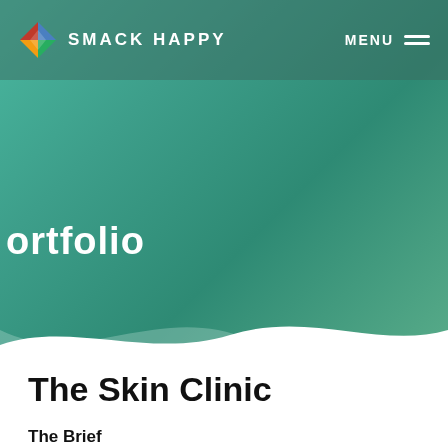SMACK HAPPY | MENU
Portfolio
The Skin Clinic
The Brief
The wonderful ladies at The Skin Clinic needed help with a label design for their new up-in-coming essential oil line of skincare products. The line included four different oil types, that included different...